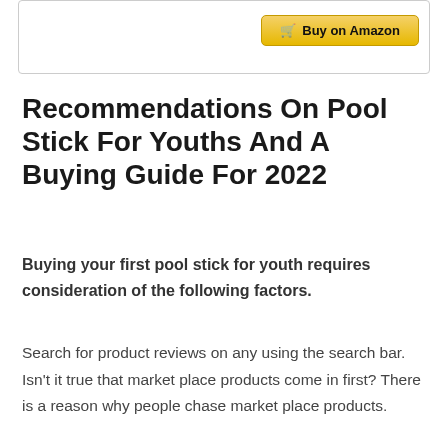[Figure (other): Partial product box/card with a Buy on Amazon button in the top-right corner]
Recommendations On Pool Stick For Youths And A Buying Guide For 2022
Buying your first pool stick for youth requires consideration of the following factors.
Search for product reviews on any using the search bar. Isn't it true that market place products come in first? There is a reason why people chase market place products.
Additionally, market place speaks directly with